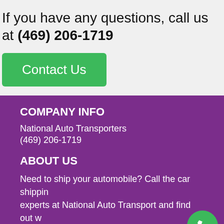If you have any questions, call us at (469) 206-1719
Contact Us
COMPANY INFO
National Auto Transporters
(469) 206-1719
ABOUT US
Need to ship your automobile? Call the car shipping experts at National Auto Transport and find out why we have earned a reputation for making our